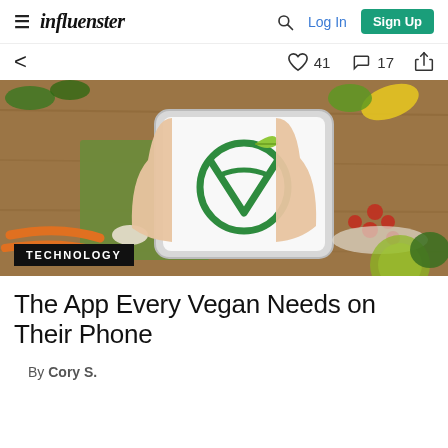influenster — Log In  Sign Up
[Figure (photo): Hands holding a tablet displaying a green vegan logo (letter V with a leaf), surrounded by fresh vegetables on a wooden table. A black badge labeled TECHNOLOGY appears at the bottom left.]
The App Every Vegan Needs on Their Phone
By Cory S.